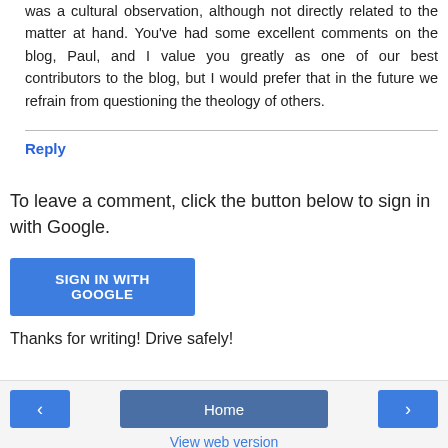was a cultural observation, although not directly related to the matter at hand. You've had some excellent comments on the blog, Paul, and I value you greatly as one of our best contributors to the blog, but I would prefer that in the future we refrain from questioning the theology of others.
Reply
To leave a comment, click the button below to sign in with Google.
[Figure (other): Blue button labeled SIGN IN WITH GOOGLE]
Thanks for writing! Drive safely!
< | Home | > | View web version